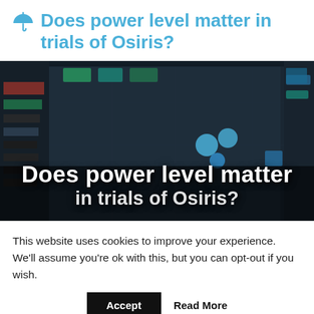Does power level matter in trials of Osiris?
[Figure (photo): Dark blurred screenshot of a game interface (Destiny 2 Trials of Osiris) with blue UI elements and dots visible, overlaid with large white bold text reading 'Does power level matter in trials of Osiris?']
This website uses cookies to improve your experience. We'll assume you're ok with this, but you can opt-out if you wish.
Accept  Read More